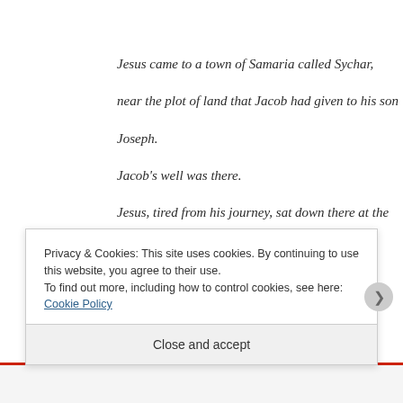Jesus came to a town of Samaria called Sychar,
near the plot of land that Jacob had given to his son
Joseph.
Jacob's well was there.
Jesus, tired from his journey, sat down there at the well.
It was about noon.

A woman of Samaria came to draw water.
Jesus said to her,
"Give me a drink."
Privacy & Cookies: This site uses cookies. By continuing to use this website, you agree to their use.
To find out more, including how to control cookies, see here: Cookie Policy
Close and accept